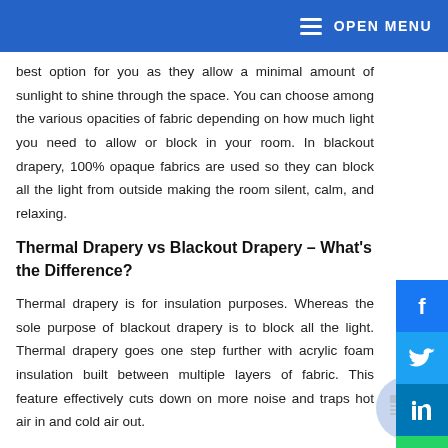OPEN MENU
best option for you as they allow a minimal amount of sunlight to shine through the space. You can choose among the various opacities of fabric depending on how much light you need to allow or block in your room. In blackout drapery, 100% opaque fabrics are used so they can block all the light from outside making the room silent, calm, and relaxing.
Thermal Drapery vs Blackout Drapery – What's the Difference?
Thermal drapery is for insulation purposes. Whereas the sole purpose of blackout drapery is to block all the light. Thermal drapery goes one step further with acrylic foam insulation built between multiple layers of fabric. This feature effectively cuts down on more noise and traps hot air in and cold air out.